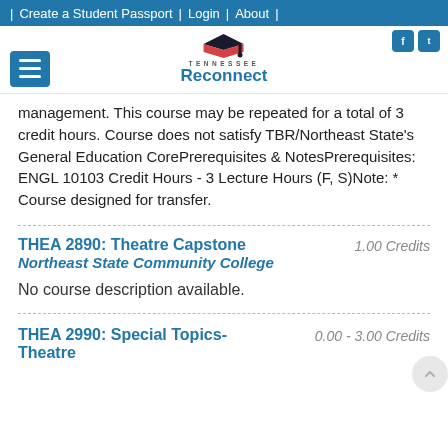| Create a Student Passport | Login | About |
[Figure (logo): Tennessee Reconnect logo with graduation cap icon]
management. This course may be repeated for a total of 3 credit hours. Course does not satisfy TBR/Northeast State's General Education CorePrerequisites & NotesPrerequisites: ENGL 10103 Credit Hours - 3 Lecture Hours (F, S)Note: * Course designed for transfer.
THEA 2890: Theatre Capstone  Northeast State Community College  1.00 Credits
No course description available.
THEA 2990: Special Topics-Theatre  0.00 - 3.00 Credits